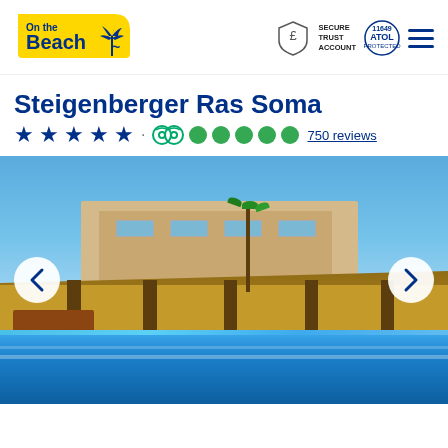[Figure (logo): On the Beach logo — yellow arrow-shaped background with dark blue text and palm tree icon]
[Figure (infographic): Secure Trust Account shield icon with pound sign and text 'SECURE TRUST ACCOUNT', plus ATOL Protected circular badge]
Steigenberger Ras Soma
★★★★★ · TripAdvisor owl icon · 5 filled green circles · 750 reviews
[Figure (photo): Hotel exterior and pool bar area — large resort building with palm trees, thatched-roof bar pavilion, wooden furniture, and blue pool/sea in the foreground under a blue sky. Left and right navigation arrows overlaid.]